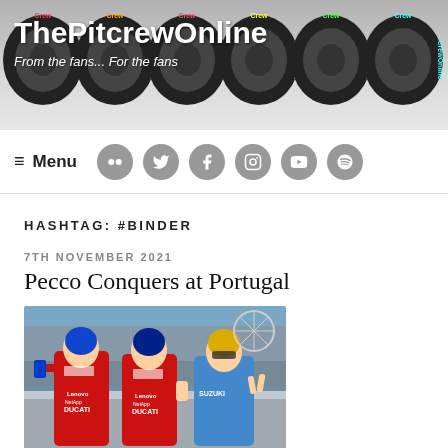[Figure (photo): ThePitcrewOnline website header banner showing colored racing tires and site logo with tagline 'From the fans... For the fans']
≡ Menu
HASHTAG: #BINDER
7TH NOVEMBER 2021
Pecco Conquers at Portugal
[Figure (photo): Three MotoGP riders posing together after the Portugal race - two in Ducati Lenovo team gear and one in Suzuki gear, smiling and making victory gestures on the track.]